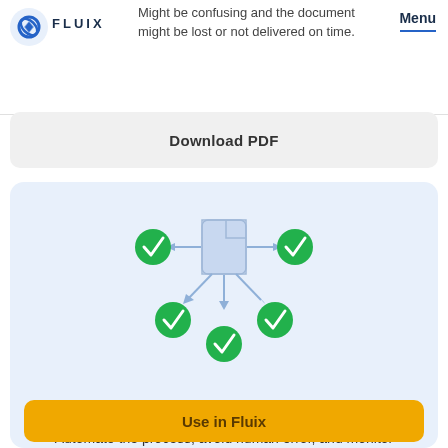Might be confusing and the document might be lost or not delivered on time.
FLUIX   Menu
Download PDF
[Figure (infographic): Document icon in center with arrows pointing to five green checkmark circles arranged around it]
Use in Fluix
Automate the process, avoid human error, and monitor document delivery.
Use in Fluix